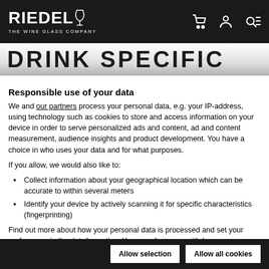RIEDEL THE WINE GLASS COMPANY — DRINK SPECIFIC
Responsible use of your data
We and our partners process your personal data, e.g. your IP-address, using technology such as cookies to store and access information on your device in order to serve personalized ads and content, ad and content measurement, audience insights and product development. You have a choice in who uses your data and for what purposes.
If you allow, we would also like to:
Collect information about your geographical location which can be accurate to within several meters
Identify your device by actively scanning it for specific characteristics (fingerprinting)
Find out more about how your personal data is processed and set your preferences in the details section. You can change or withdraw your consent any time from the Cookie Declaration.
Allow selection | Allow all cookies